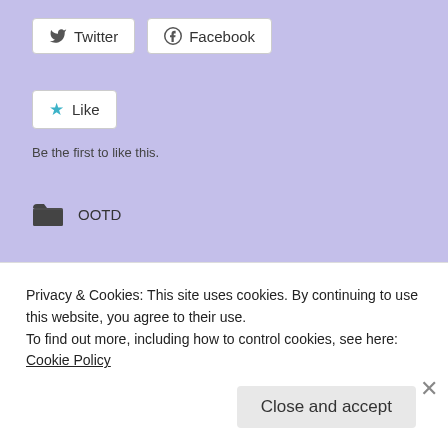[Figure (screenshot): Twitter share button with bird icon]
[Figure (screenshot): Facebook share button with circle-f icon]
[Figure (screenshot): Like button with teal star icon]
Be the first to like this.
OOTD
← Tiny Tuesday #13!!
Tiny Tuesday #14 :) →
Privacy & Cookies: This site uses cookies. By continuing to use this website, you agree to their use.
To find out more, including how to control cookies, see here: Cookie Policy
Close and accept